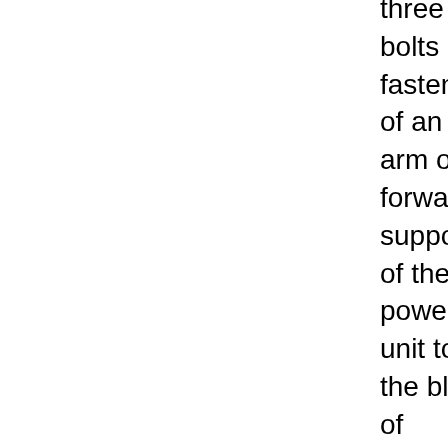three bolts of fastening of an arm of a forward support of the power unit to the block of cylinders …
6. … also remove an arm.
7. Remove an oil filter (see. "Replacement of oil in the engine and an oil filter").
8. A key ...